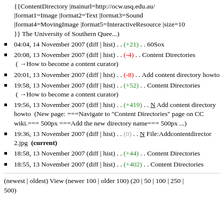{{ContentDirectory |mainurl=http://ocw.usq.edu.au/ |format1=Image |format2=Text |format3=Sound |format4=MovingImage |format5=InteractiveResource |size=10 }} The University of Southern Quee...)
04:04, 14 November 2007 (diff | hist) . . (+21) . . 60Sox
20:08, 13 November 2007 (diff | hist) . . (-4) . . Content Directories  (→How to become a content curator)
20:01, 13 November 2007 (diff | hist) . . (-8) . . Add content directory howto
19:58, 13 November 2007 (diff | hist) . . (+52) . . Content Directories  (→How to become a content curator)
19:56, 13 November 2007 (diff | hist) . . (+419) . . N Add content directory howto  (New page: ===Navigate to "Content Directories" page on CC wiki.=== 500px ===Add the new directory name=== 500px ...)
19:36, 13 November 2007 (diff | hist) . . (0) . . N File:Addcontentdirector 2.jpg  (current)
18:58, 13 November 2007 (diff | hist) . . (+44) . . Content Directories
18:55, 13 November 2007 (diff | hist) . . (+402) . . Content Directories
(newest | oldest) View (newer 100 | older 100) (20 | 50 | 100 | 250 | 500)